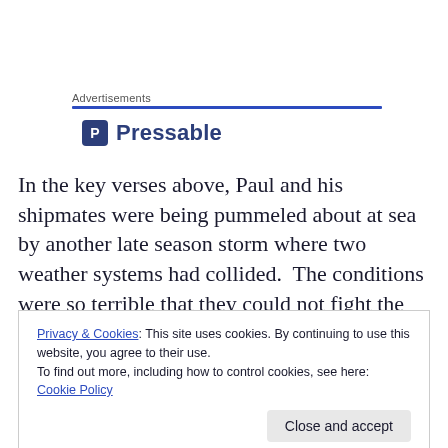Advertisements
[Figure (logo): Pressable logo with blue P icon and bold text 'Pressable']
In the key verses above, Paul and his shipmates were being pummeled about at sea by another late season storm where two weather systems had collided.  The conditions were so terrible that they could not fight the storm and eventually “gave way to it and were driven
Privacy & Cookies: This site uses cookies. By continuing to use this website, you agree to their use.
To find out more, including how to control cookies, see here: Cookie Policy
‘perfect storm’ conditions, causing us to feel like giving